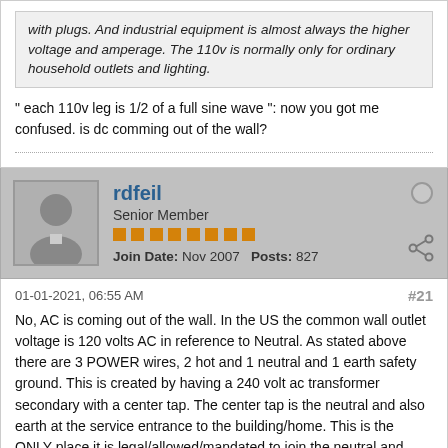with plugs. And industrial equipment is almost always the higher voltage and amperage. The 110v is normally only for ordinary household outlets and lighting.
" each 110v leg is 1/2 of a full sine wave ": now you got me confused. is dc comming out of the wall?
rdfeil
Senior Member
Join Date: Nov 2007   Posts: 827
01-01-2021, 06:55 AM
#21
No, AC is coming out of the wall. In the US the common wall outlet voltage is 120 volts AC in reference to Neutral. As stated above there are 3 POWER wires, 2 hot and 1 neutral and 1 earth safety ground. This is created by having a 240 volt ac transformer secondary with a center tap. The center tap is the neutral and also earth at the service entrance to the building/home. This is the ONLY place it is legal/allowed/mandated to join the neutral and earth ground together. The difference between neutral and ground it technical only. The neutral is designed to carry the current of the 120 volt AC loads back to the transformer. It is therefore considered a "current carrying conductor". The earth ground wire is for safety only and ONLY carries